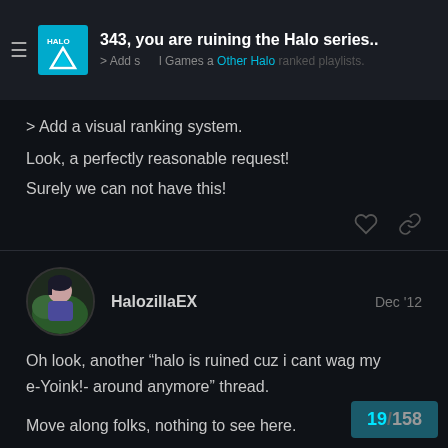343, you are ruining the Halo series.. | Games | Other Halo | ranked playlists.
> Add a visual ranking system.
Look, a perfectly reasonable request!
Surely we can not have this!
HalozillaEX   Dec '12
Oh look, another “halo is ruined cuz i cant wag my e-Yoink!- around anymore” thread.
Move along folks, nothing to see here.
19 / 158